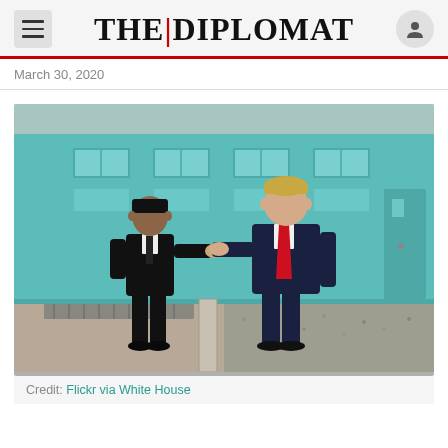THE | DIPLOMAT
March 30, 2020
[Figure (photo): Two men in dark suits shaking hands in front of a teal/blue building. The man on the left wears an all-black suit, the man on the right wears a navy suit with a red tie. They are standing at what appears to be a border demarcation line with gravel ground.]
Credit: Flickr via White House